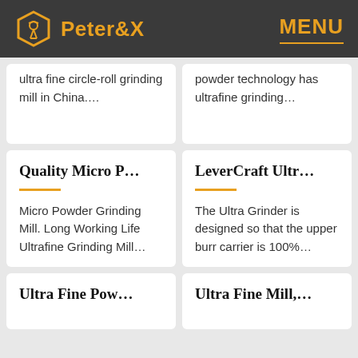Peter&X  MENU
ultra fine circle-roll grinding mill in China....
powder technology has ultrafine grinding…
Quality Micro P...
Micro Powder Grinding Mill. Long Working Life Ultrafine Grinding Mill…
LeverCraft Ultr...
The Ultra Grinder is designed so that the upper burr carrier is 100%…
Ultra Fine Pow…
Ultra Fine Mill,…